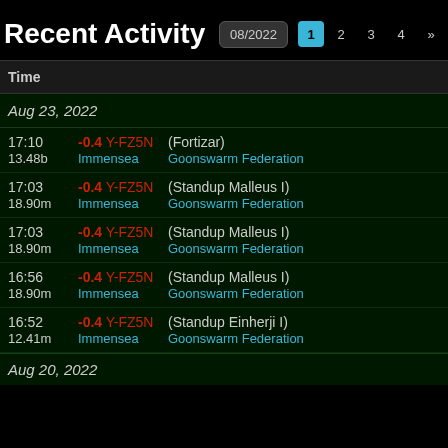Recent Activity
08/2022  1  2  3  4  »
| Time |  |  |
| --- | --- | --- |
| Aug 23, 2022 |  |  |
| 17:10
13.48b | -0.4 Y-FZ5N
Immensea | (Fortizar)
Goonswarm Federation |
| 17:03
18.90m | -0.4 Y-FZ5N
Immensea | (Standup Malleus I)
Goonswarm Federation |
| 17:03
18.90m | -0.4 Y-FZ5N
Immensea | (Standup Malleus I)
Goonswarm Federation |
| 16:56
18.90m | -0.4 Y-FZ5N
Immensea | (Standup Malleus I)
Goonswarm Federation |
| 16:52
12.41m | -0.4 Y-FZ5N
Immensea | (Standup Einherji I)
Goonswarm Federation |
| Aug 20, 2022 |  |  |